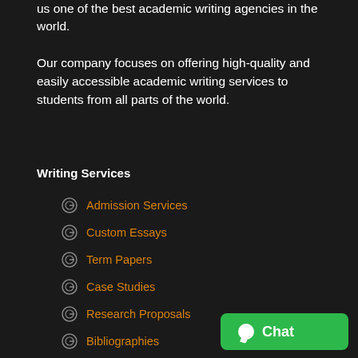Our dedication to quality and customer satisfaction makes us one of the best academic writing agencies in the world.
Our company focuses on offering high-quality and easily accessible academic writing services to students from all parts of the world.
Writing Services
Admission Services
Custom Essays
Term Papers
Case Studies
Research Proposals
Bibliographies
Dissertation Services
Thesis Writing